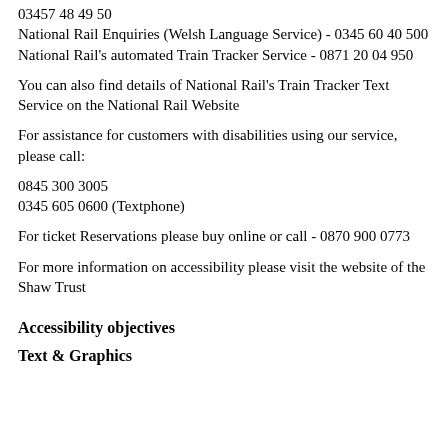03457 48 49 50
National Rail Enquiries (Welsh Language Service) - 0345 60 40 500
National Rail's automated Train Tracker Service - 0871 20 04 950
You can also find details of National Rail's Train Tracker Text Service on the National Rail Website
For assistance for customers with disabilities using our service, please call:
0845 300 3005
0345 605 0600 (Textphone)
For ticket Reservations please buy online or call - 0870 900 0773
For more information on accessibility please visit the website of the Shaw Trust
Accessibility objectives
Text & Graphics